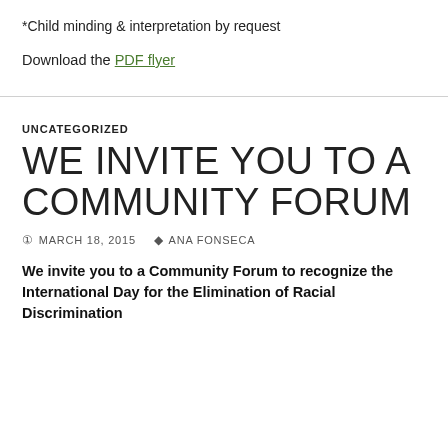*Child minding & interpretation by request
Download the PDF flyer
UNCATEGORIZED
WE INVITE YOU TO A COMMUNITY FORUM
MARCH 18, 2015   ANA FONSECA
We invite you to a Community Forum to recognize the International Day for the Elimination of Racial Discrimination